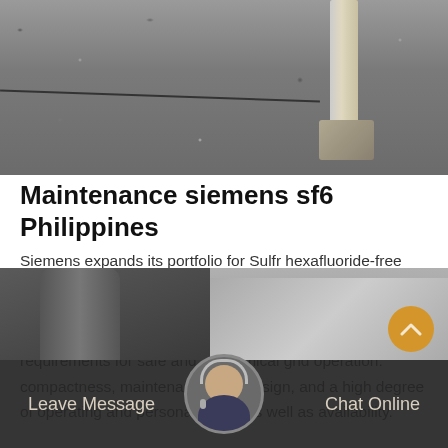[Figure (photo): Aerial or ground-level photo of gravel surface with a concrete pole/pillar and cable in a utility or industrial setting]
Maintenance siemens sf6 Philippines
Siemens expands its portfolio for Sulfr hexafluoride-free medium-voltage Mar 28, 2019 · The picture shows the sf 6-free medium-voltage switchgear 8DJH 12. The medium-voltage switchgear in the 8DJH family meet all requirements for safe and economical grid operation: compactness, maintenance-free design, and a high degree of operating and personal safety as well as availability.
[Figure (infographic): Orange 'Get Price' button]
[Figure (photo): Bottom section with two partial photos and a chat agent avatar, with Leave Message and Chat Online buttons on dark background]